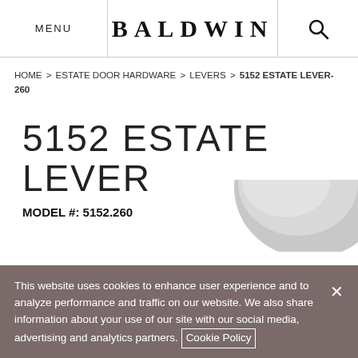MENU  BALDWIN  [search]
HOME > ESTATE DOOR HARDWARE > LEVERS > 5152 ESTATE LEVER-260
5152 ESTATE LEVER
MODEL #: 5152.260
[Figure (photo): Partial view of a silver/chrome door lever knob in the lower right of the page]
This website uses cookies to enhance user experience and to analyze performance and traffic on our website. We also share information about your use of our site with our social media, advertising and analytics partners. Cookie Policy